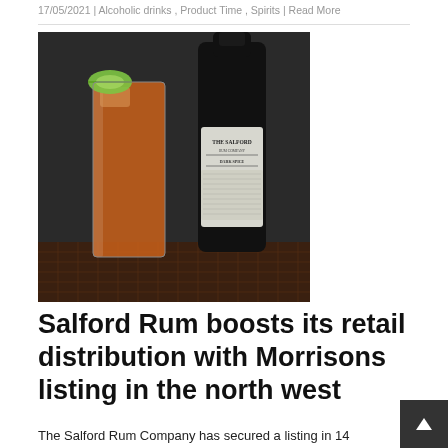17/05/2021 | Alcoholic drinks , Product Time , Spirits | Read More
[Figure (photo): A tall glass of orange cocktail with a lime wedge next to a black bottle of The Salford Rum Company Dark Spice rum on a dark background.]
Salford Rum boosts its retail distribution with Morrisons listing in the north west
The Salford Rum Company has secured a listing in 14 Morrisons stores in the